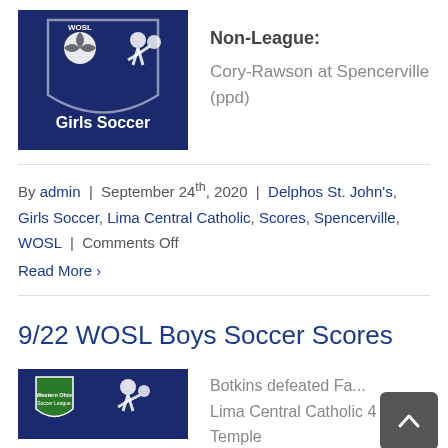[Figure (logo): WOSL Girls Soccer logo on dark navy background with soccer ball and player silhouettes]
Non-League: Cory-Rawson at Spencerville (ppd)
By admin | September 24th, 2020 | Delphos St. John's, Girls Soccer, Lima Central Catholic, Scores, Spencerville, WOSL | Comments Off
Read More >
9/22 WOSL Boys Soccer Scores
[Figure (logo): Western Ohio Soccer League logo on dark navy background]
Botkins defeated Fa... Lima Central Catholic 4 Temple